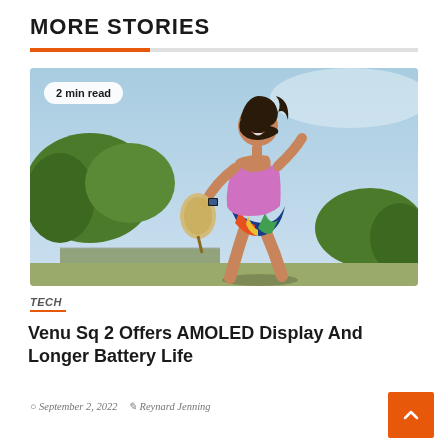MORE STORIES
[Figure (photo): A woman running and playing pickleball outdoors on a sunny day, wearing a pink sports top and colorful shorts, holding a paddle, wearing a smartwatch. Badge overlay reads '2 min read'.]
TECH
Venu Sq 2 Offers AMOLED Display And Longer Battery Life
September 2, 2022   Reynard Jenning